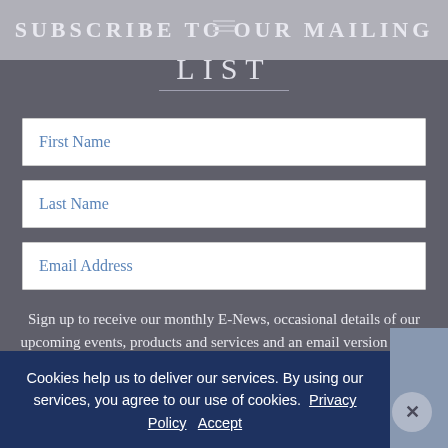SUBSCRIBE TO OUR MAILING LIST
LIST
First Name
Last Name
Email Address
Sign up to receive our monthly E-News, occasional details of our upcoming events, products and services and an email version of our annual Lifestyle Publication.
If you would like to opt-in to this, please opt-in
Cookies help us to deliver our services. By using our services, you agree to our use of cookies. Privacy Policy  Accept